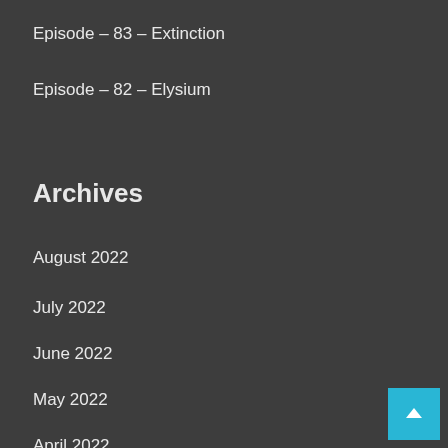Episode – 83 – Extinction
Episode – 82 – Elysium
Archives
August 2022
July 2022
June 2022
May 2022
April 2022
March 2022
February 2022